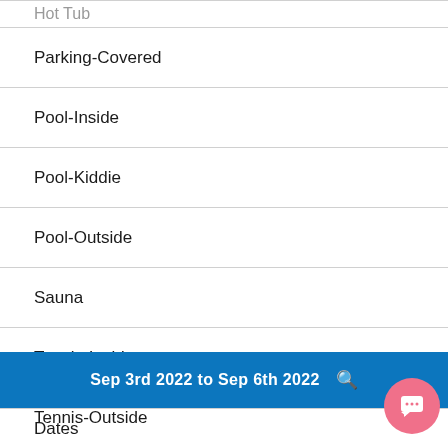Hot Tub
Parking-Covered
Pool-Inside
Pool-Kiddie
Pool-Outside
Sauna
Tennis-Inside
Tennis-Outside
Sep 3rd 2022 to Sep 6th 2022
Dates